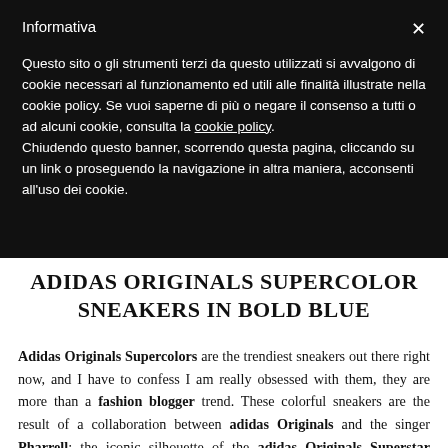Informativa
Questo sito o gli strumenti terzi da questo utilizzati si avvalgono di cookie necessari al funzionamento ed utili alle finalità illustrate nella cookie policy. Se vuoi saperne di più o negare il consenso a tutti o ad alcuni cookie, consulta la cookie policy.
Chiudendo questo banner, scorrendo questa pagina, cliccando su un link o proseguendo la navigazione in altra maniera, acconsenti all'uso dei cookie.
ADIDAS ORIGINALS SUPERCOLOR SNEAKERS IN BOLD BLUE
Adidas Originals Supercolors are the trendiest sneakers out there right now, and I have to confess I am really obsessed with them, they are more than a fashion blogger trend. These colorful sneakers are the result of a collaboration between adidas Originals and the singer Pharrell: the iconic silhouette of the adidas Originals Superstar sneakers turned into 50 different and unique colorful, beautiful and very comfortable shoes. The adidas Originals by Pharrell adidas Superstar sneakers is also...